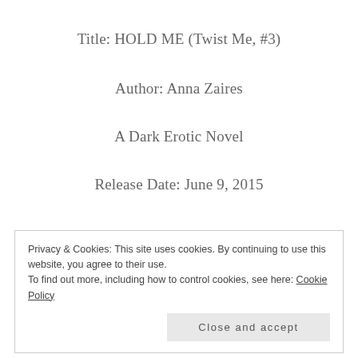Title: HOLD ME (Twist Me, #3)
Author: Anna Zaires
A Dark Erotic Novel
Release Date: June 9, 2015
Privacy & Cookies: This site uses cookies. By continuing to use this website, you agree to their use. To find out more, including how to control cookies, see here: Cookie Policy
Close and accept